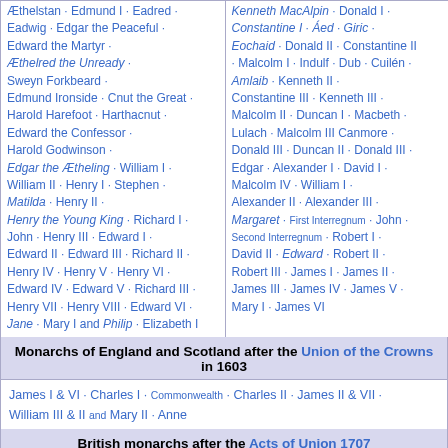Æthelstan · Edmund I · Eadred · Eadwig · Edgar the Peaceful · Edward the Martyr · Æthelred the Unready · Sweyn Forkbeard · Edmund Ironside · Cnut the Great · Harold Harefoot · Harthacnut · Edward the Confessor · Harold Godwinson · Edgar the Ætheling · William I · William II · Henry I · Stephen · Matilda · Henry II · Henry the Young King · Richard I · John · Henry III · Edward I · Edward II · Edward III · Richard II · Henry IV · Henry V · Henry VI · Edward IV · Edward V · Richard III · Henry VII · Henry VIII · Edward VI · Jane · Mary I and Philip · Elizabeth I
Kenneth MacAlpin · Donald I · Constantine I · Áed · Giric · Eochaid · Donald II · Constantine II · Malcolm I · Indulf · Dub · Cuilén · Amlaib · Kenneth II · Constantine III · Kenneth III · Malcolm II · Duncan I · Macbeth · Lulach · Malcolm III Canmore · Donald III · Duncan II · Donald III · Edgar · Alexander I · David I · Malcolm IV · William I · Alexander II · Alexander III · Margaret · First Interregnum · John · Second Interregnum · Robert I · David II · Edward · Robert II · Robert III · James I · James II · James III · James IV · James V · Mary I · James VI
Monarchs of England and Scotland after the Union of the Crowns in 1603
James I & VI · Charles I · Commonwealth · Charles II · James II & VII · William III & II and Mary II · Anne
British monarchs after the Acts of Union 1707
Anne · George I · George II · George III · George IV · William IV · Victoria · Edward VII · George V · Edward VIII · George VI · Elizabeth II
Debatable or disputed rulers are in italics.